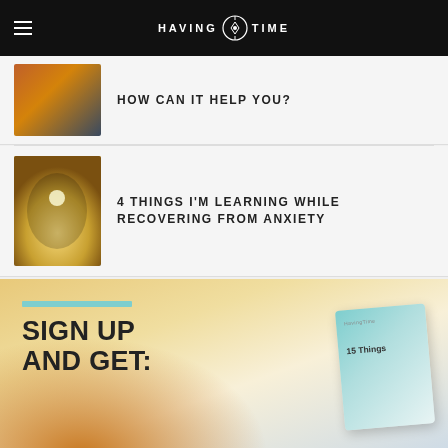[Figure (logo): Having Time website header with hamburger menu icon and logo]
[Figure (photo): Thumbnail photo - warm toned abstract image]
HOW CAN IT HELP YOU?
[Figure (photo): Thumbnail photo - hands forming heart shape against sunlight]
4 THINGS I'M LEARNING WHILE RECOVERING FROM ANXIETY
[Figure (infographic): Sign up banner with teal accent bar and text 'SIGN UP AND GET:' over warm gradient background, with a card showing '15 Things' and HavingTime logo]